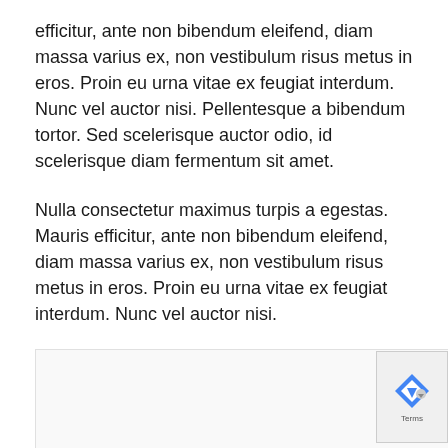efficitur, ante non bibendum eleifend, diam massa varius ex, non vestibulum risus metus in eros. Proin eu urna vitae ex feugiat interdum. Nunc vel auctor nisi. Pellentesque a bibendum tortor. Sed scelerisque auctor odio, id scelerisque diam fermentum sit amet.
Nulla consectetur maximus turpis a egestas. Mauris efficitur, ante non bibendum eleifend, diam massa varius ex, non vestibulum risus metus in eros. Proin eu urna vitae ex feugiat interdum. Nunc vel auctor nisi.
[Figure (other): reCAPTCHA widget partial view at bottom of page showing reCAPTCHA logo and Terms text]